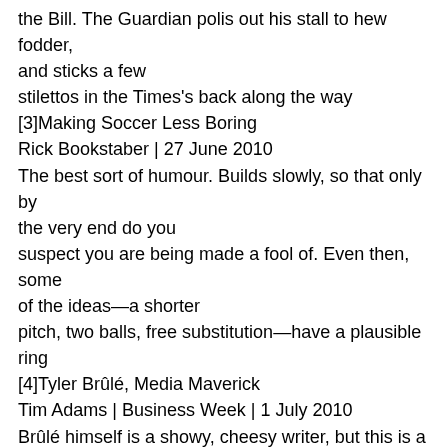the Bill. The Guardian polis out his stall to hew fodder, and sticks a few stilettos in the Times's back along the way
[3]Making Soccer Less Boring
Rick Bookstaber | 27 June 2010
The best sort of humour. Builds slowly, so that only by the very end do you suspect you are being made a fool of. Even then, some of the ideas—a shorter pitch, two balls, free substitution—have a plausible ring
[4]Tyler Brûlé, Media Maverick
Tim Adams | Business Week | 1 July 2010
Brûlé himself is a showy, cheesy writer, but this is a well-put-together account of his career, of his branding consultancy, and of his magazine Monocle, described here as a commercial success
[5]Ellen And William Craft Escape Slavery